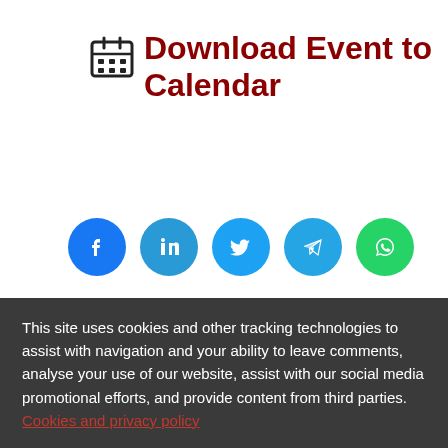Download Event to Calendar
Return to Event list
[Figure (illustration): Row of five social media share buttons: Facebook (blue), LinkedIn (blue), Twitter (blue), Telegram (blue), WhatsApp (green)]
Leave a Reply
This site uses cookies and other tracking technologies to assist with navigation and your ability to leave comments, analyse your use of our website, assist with our social media promotional efforts, and provide content from third parties. Cookies and privacy policy